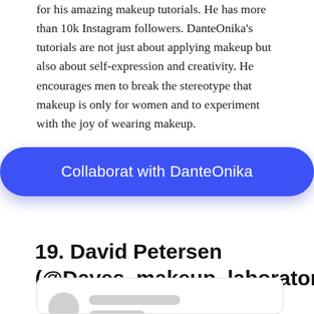for his amazing makeup tutorials. He has more than 10k Instagram followers. DanteOnika's tutorials are not just about applying makeup but also about self-expression and creativity. He encourages men to break the stereotype that makeup is only for women and to experiment with the joy of wearing makeup.
[Figure (other): A blue pill-shaped button with white text reading 'Collaborat with DanteOnika', with a drop shadow beneath it.]
19. David Petersen (@Daves_makeup_laboratory)
[Figure (screenshot): A social media profile card placeholder with a grey circle avatar on the left and two grey rounded rectangle placeholder lines on the right, inside a light-bordered card.]